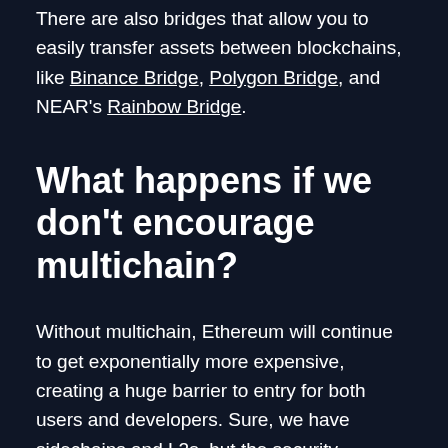There are also bridges that allow you to easily transfer assets between blockchains, like Binance Bridge, Polygon Bridge, and NEAR's Rainbow Bridge.
What happens if we don't encourage multichain?
Without multichain, Ethereum will continue to get exponentially more expensive, creating a huge barrier to entry for both users and developers. Sure, we have sidechains and L2s, but the security downsides and risk of centralization with